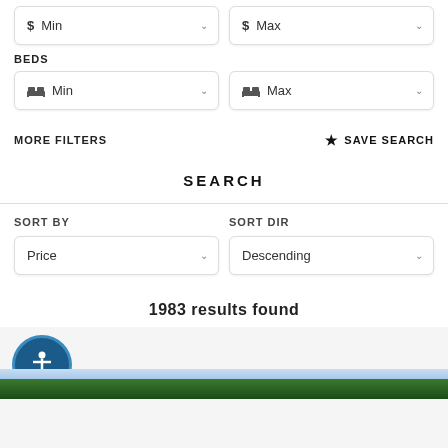$ Min
$ Max
BEDS
Min
Max
MORE FILTERS
★ SAVE SEARCH
SEARCH
SORT BY
SORT DIR
Price
Descending
1983 results found
[Figure (screenshot): Accessibility button (blue circle with person icon) and partial photo strip of trees]